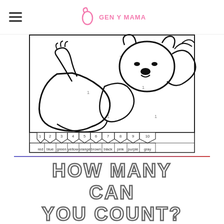Gen Y Mama
[Figure (illustration): Color by number worksheet showing a cute cartoon animal (bear or similar character). The image has numbered regions and a color key at the bottom with numbers 1-10 corresponding to colors: 1=red, 2=blue, 3=green, 4=yellow, 5=orange, 6=brown, 7=black, 8=pink, 9=purple, 10=gray.]
HOW MANY CAN YOU COUNT?